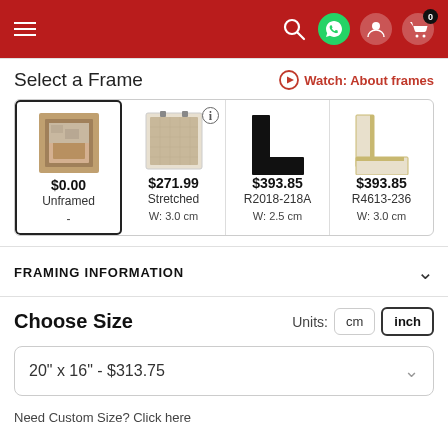Navigation header with menu, search, WhatsApp, user, and cart (0) icons
Select a Frame
Watch: About frames
| Option 1 | Option 2 | Option 3 | Option 4 |
| --- | --- | --- | --- |
| $0.00 | $271.99 | $393.85 | $393.85 |
| Unframed | Stretched | R2018-218A | R4613-236 |
| - | W: 3.0 cm | W: 2.5 cm | W: 3.0 cm |
FRAMING INFORMATION
Choose Size
Units: cm  inch
20" x 16" - $313.75
Need Custom Size? Click here